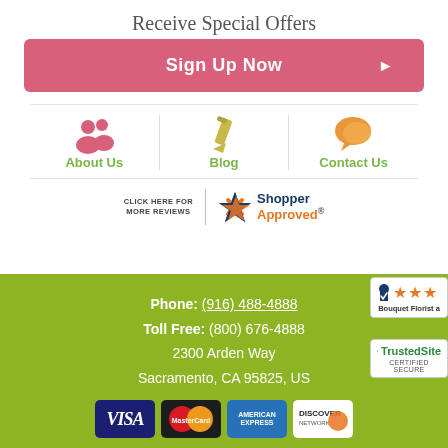Receive Special Offers
Sign Up Now ▶
[Figure (infographic): Three icons in a row: About Us (pink people icon), Blog (green pencil icon), Contact Us (orange speech bubble icon), each separated by vertical dividers]
[Figure (logo): Shopper Approved badge with CLICK HERE FOR MORE REVIEWS text and star logo]
Phone: (916) 488-4888
Toll Free: (800) 676-4888
2300 Arden Way
Sacramento, CA 95825, US
[Figure (infographic): Payment method logos: Visa, MasterCard, American Express, Discover]
[Figure (logo): Shopper Approved rating badge with 3 stars and text Bouquet Florist a]
[Figure (logo): TrustedSite CERTIFIED SECURE badge]